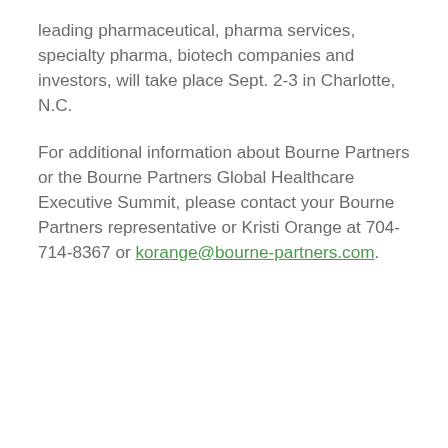leading pharmaceutical, pharma services, specialty pharma, biotech companies and investors, will take place Sept. 2-3 in Charlotte, N.C.
For additional information about Bourne Partners or the Bourne Partners Global Healthcare Executive Summit, please contact your Bourne Partners representative or Kristi Orange at 704-714-8367 or korange@bourne-partners.com.